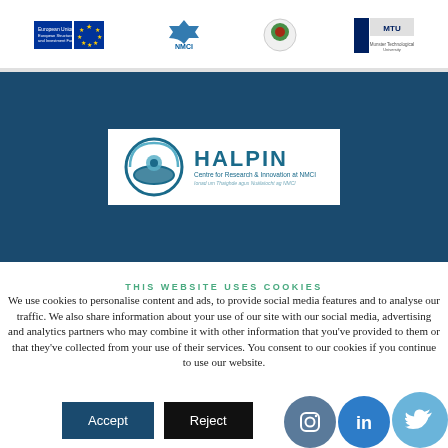[Figure (logo): Page header with logos: European Union / European Structural and Investment Funds, EU stars flag, NMCI logo, Cork county logo, MTU/Munster Technological University logo]
[Figure (logo): Dark blue banner with HALPIN Centre for Research & Innovation at NMCI logo]
THIS WEBSITE USES COOKIES
We use cookies to personalise content and ads, to provide social media features and to analyse our traffic. We also share information about your use of our site with our social media, advertising and analytics partners who may combine it with other information that you've provided to them or that they've collected from your use of their services. You consent to our cookies if you continue to use our website.
[Figure (other): Accept and Reject cookie buttons, plus Instagram, LinkedIn, Twitter social media icons]